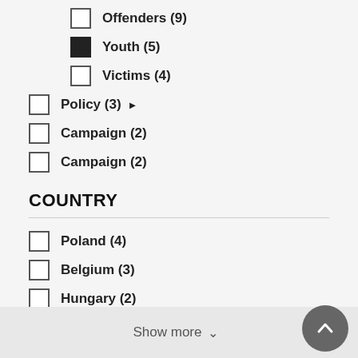Offenders (9)
Youth (5)
Victims (4)
Policy (3)
Campaign (2)
Campaign (2)
COUNTRY
Poland (4)
Belgium (3)
Hungary (2)
Show more